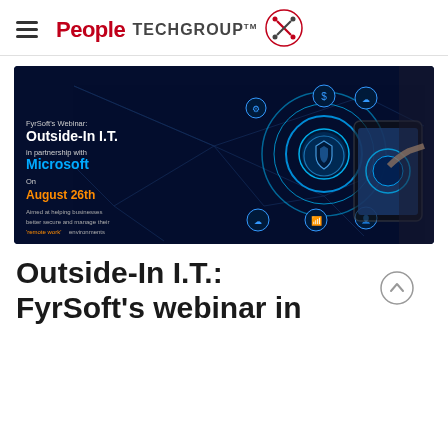People TECH GROUP™
[Figure (screenshot): Webinar banner for FyrSoft's Outside-In I.T. webinar in partnership with Microsoft on August 26th. Dark blue background with tech network graphics and a person touching a tablet. Text on left reads: FyrSoft's Webinar: Outside-In I.T. in partnership with Microsoft. On August 26th. Aimed at helping businesses better secure and manage their 'remote work' environments.]
Outside-In I.T.: FyrSoft's webinar in